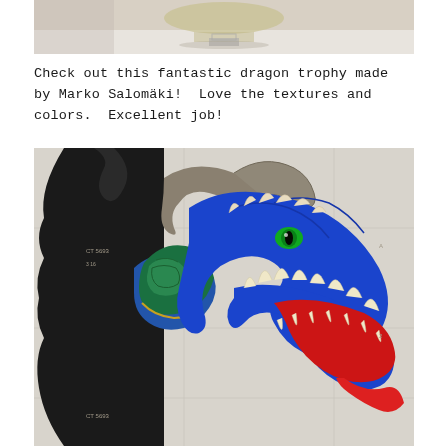[Figure (photo): Top portion of a decorative sculpture or trophy on a white surface, partially cropped]
Check out this fantastic dragon trophy made by Marko Salomäki!  Love the textures and colors.  Excellent job!
[Figure (photo): A colorful dragon head trophy mounted on a dark wooden plaque. The dragon has blue scales, green eyes, cream/ivory teeth, a red open mouth with tongue, green neck scales, and gray/silver horns. Set against a light background with faint grid markings.]